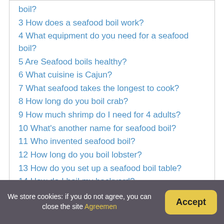boil?
3 How does a seafood boil work?
4 What equipment do you need for a seafood boil?
5 Are Seafood boils healthy?
6 What cuisine is Cajun?
7 What seafood takes the longest to cook?
8 How long do you boil crab?
9 How much shrimp do I need for 4 adults?
10 What's another name for seafood boil?
11 Who invented seafood boil?
12 How long do you boil lobster?
13 How do you set up a seafood boil table?
14 How do I boil my backyard?
15 What goes with shrimp boil?
How do you make a
We store cookies: if you do not agree, you can close the site Agreemen